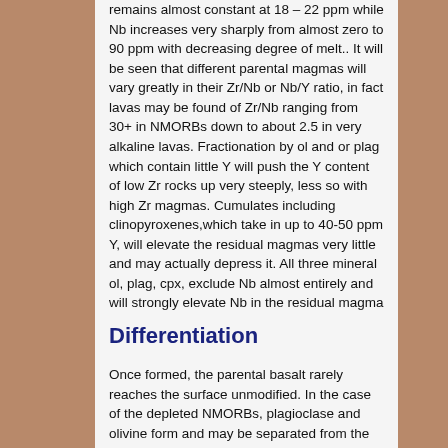remains almost constant at 18 – 22 ppm while Nb increases very sharply from almost zero to 90 ppm with decreasing degree of melt.. It will be seen that different parental magmas will vary greatly in their Zr/Nb or Nb/Y ratio, in fact lavas may be found of Zr/Nb ranging from 30+ in NMORBs down to about 2.5 in very alkaline lavas. Fractionation by ol and or plag which contain little Y will push the Y content of low Zr rocks up very steeply, less so with high Zr magmas. Cumulates including clinopyroxenes,which take in up to 40-50 ppm Y, will elevate the residual magmas very little and may actually depress it. All three mineral ol, plag, cpx, exclude Nb almost entirely and will strongly elevate Nb in the residual magma
Differentiation
Once formed, the parental basalt rarely reaches the surface unmodified. In the case of the depleted NMORBs, plagioclase and olivine form and may be separated from the magma, which will lead to...